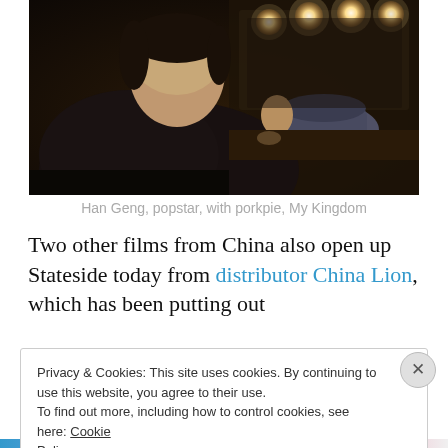[Figure (photo): Han Geng, popstar, holding a porkpie hat in what appears to be a dressing room with vanity bulb lights in the background, wearing a black leather jacket.]
Han Geng, popstar, with porkpie, My Kingdom
Two other films from China also open up Stateside today from distributor China Lion, which has been putting out
Privacy & Cookies: This site uses cookies. By continuing to use this website, you agree to their use.
To find out more, including how to control cookies, see here: Cookie Policy
Close and accept